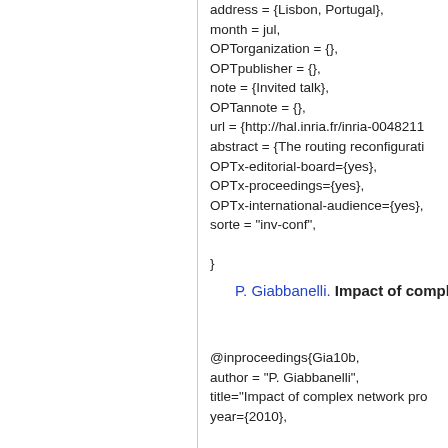address = {Lisbon, Portugal},
month = jul,
OPTorganization = {},
OPTpublisher = {},
note = {Invited talk},
OPTannote = {},
url = {http://hal.inria.fr/inria-0048211
abstract = {The routing reconfigurati
OPTx-editorial-board={yes},
OPTx-proceedings={yes},
OPTx-international-audience={yes},
sorte = "inv-conf",

}
14. P. Giabbanelli. Impact of complex n...
@inproceedings{Gia10b,
author = "P. Giabbanelli",
title="Impact of complex network pro
year={2010},